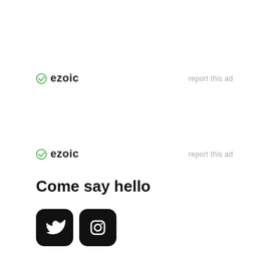[Figure (logo): Ezoic logo with green circle checkmark icon and bold 'ezoic' text, with 'report this ad' link on the right]
[Figure (logo): Ezoic logo with green circle checkmark icon and bold 'ezoic' text, with 'report this ad' link on the right]
Come say hello
[Figure (illustration): Twitter bird icon in white on black rounded square button, and Instagram camera icon in white on black rounded square button]